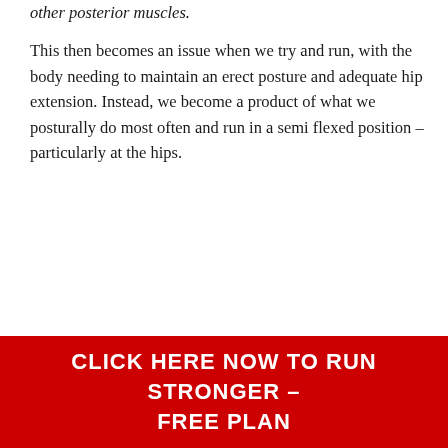other posterior muscles.
This then becomes an issue when we try and run, with the body needing to maintain an erect posture and adequate hip extension. Instead, we become a product of what we posturally do most often and run in a semi flexed position – particularly at the hips.
CLICK HERE NOW TO RUN STRONGER – FREE PLAN